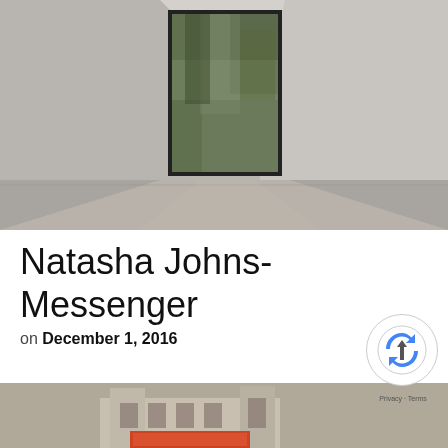[Figure (photo): Interior hallway or corridor of a minimalist white building with a large floor-to-ceiling black-framed window at the end showing trees/foliage outside. Grey polished concrete floor.]
Natasha Johns-Messenger
on December 1, 2016
[Figure (photo): Partial view of a painting or artwork depicting a historic church or cathedral building with red/orange signage at the bottom, on a muted olive/grey background.]